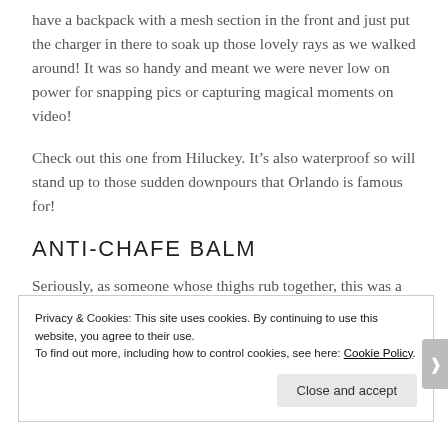have a backpack with a mesh section in the front and just put the charger in there to soak up those lovely rays as we walked around! It was so handy and meant we were never low on power for snapping pics or capturing magical moments on video!
Check out this one from Hiluckey. It’s also waterproof so will stand up to those sudden downpours that Orlando is famous for!
ANTI-CHAFE BALM
Seriously, as someone whose thighs rub together, this was a
Privacy & Cookies: This site uses cookies. By continuing to use this website, you agree to their use.
To find out more, including how to control cookies, see here: Cookie Policy
Close and accept